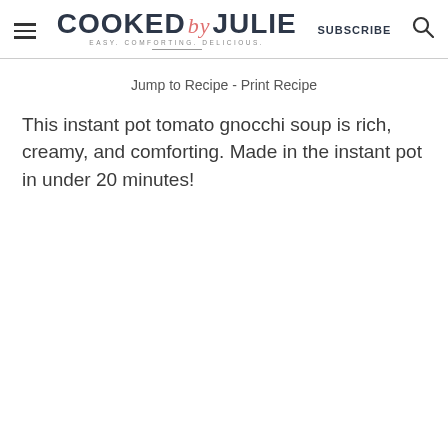COOKED by JULIE — EASY. COMFORTING. DELICIOUS. | SUBSCRIBE
Jump to Recipe - Print Recipe
This instant pot tomato gnocchi soup is rich, creamy, and comforting. Made in the instant pot in under 20 minutes!